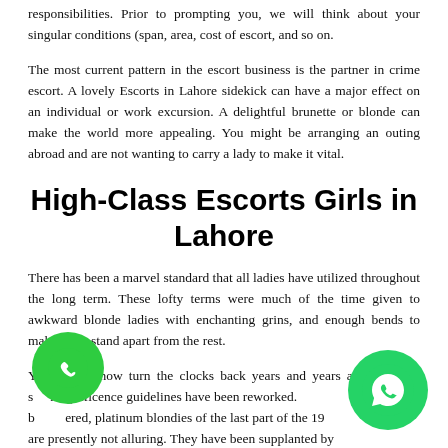responsibilities. Prior to prompting you, we will think about your singular conditions (span, area, cost of escort, and so on.
The most current pattern in the escort business is the partner in crime escort. A lovely Escorts in Lahore sidekick can have a major effect on an individual or work excursion. A delightful brunette or blonde can make the world more appealing. You might be arranging an outing abroad and are not wanting to carry a lady to make it vital.
High-Class Escorts Girls in Lahore
There has been a marvel standard that all ladies have utilized throughout the long term. These lofty terms were much of the time given to awkward blonde ladies with enchanting grins, and enough bends to make them stand apart from the rest.
You now turn the clocks back years and years and you will s magnificence guidelines have been reworked. b ered, platinum blondies of the last part of the 19 are presently not alluring. They have been supplanted by